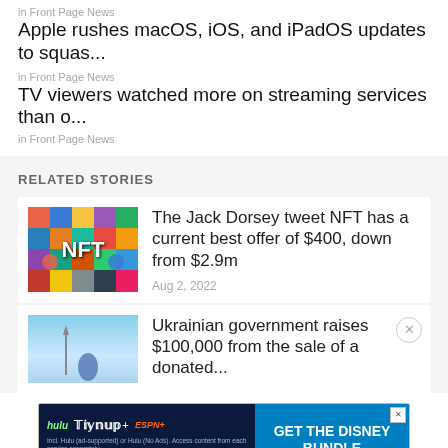in Front Page News
Apple rushes macOS, iOS, and iPadOS updates to squas...
in Front Page News
TV viewers watched more on streaming services than o...
in Front Page News
RELATED STORIES
[Figure (photo): NFT colorful mosaic image with NFT text overlay]
The Jack Dorsey tweet NFT has a current best offer of $400, down from $2.9m
Aug 2, 2022
[Figure (photo): Ukrainian government story thumbnail with sky background]
Ukrainian government raises $100,000 from the sale of a donated...
[Figure (infographic): Hulu Disney+ ESPN+ Get the Disney Bundle advertisement banner]